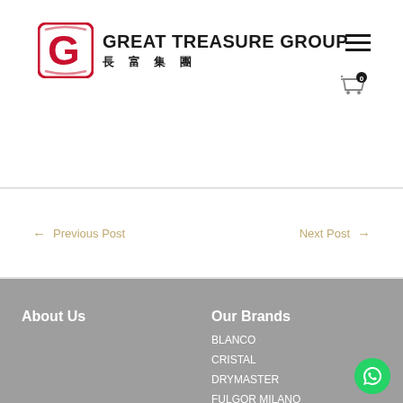[Figure (logo): Great Treasure Group logo with red square G icon and bilingual English/Chinese text]
← Previous Post
Next Post →
About Us
Our Brands
BLANCO
CRISTAL
DRYMASTER
FULGOR MILANO